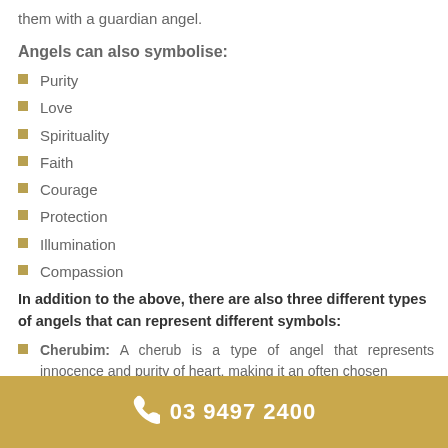them with a guardian angel.
Angels can also symbolise:
Purity
Love
Spirituality
Faith
Courage
Protection
Illumination
Compassion
In addition to the above, there are also three different types of angels that can represent different symbols:
Cherubim: A cherub is a type of angel that represents innocence and purity of heart, making it an often chosen
03 9497 2400